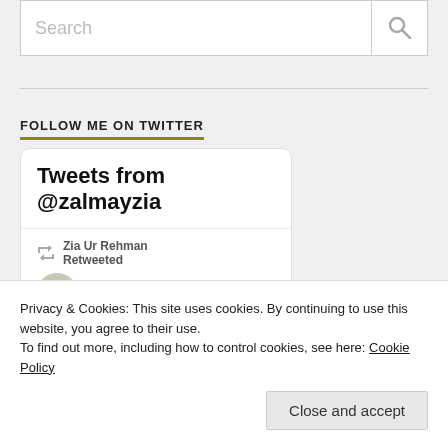[Figure (screenshot): Search bar with placeholder text 'Search' and a magnifying glass icon on the right]
FOLLOW ME ON TWITTER
[Figure (screenshot): Twitter widget showing 'Tweets from @zalmayzia' with a retweet by Zia Ur Rehman and Abdul Ja... with Twitter bird icon]
Advertisements
Privacy & Cookies: This site uses cookies. By continuing to use this website, you agree to their use.
To find out more, including how to control cookies, see here: Cookie Policy
Close and accept